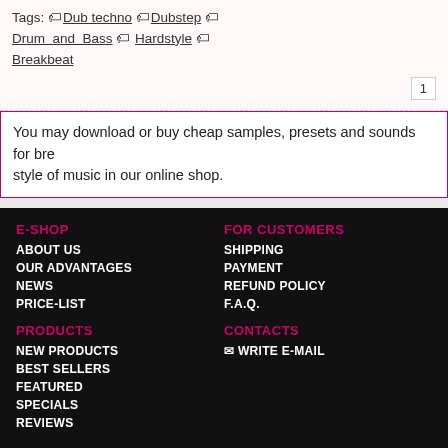Tags: 🏷 Dub techno 🏷 Dubstep 🏷 Drum and Bass 🏷 Hardstyle 🏷 Breakbeat
1
You may download or buy cheap samples, presets and sounds for bre... style of music in our online shop.
E-SHOP
ABOUT US
OUR ADVANTAGES
NEWS
PRICE-LIST
FOR CUSTOMERS
SHIPPING
PAYMENT
REFUND POLICY
F.A.Q.
PRODUCTS
NEW PRODUCTS
BEST SELLERS
FEATURED
SPECIALS
REVIEWS
CONTACTS
✉ WRITE E-MAIL
COPYRIGHT © 2016-2022 MUSIC-EQ.COM